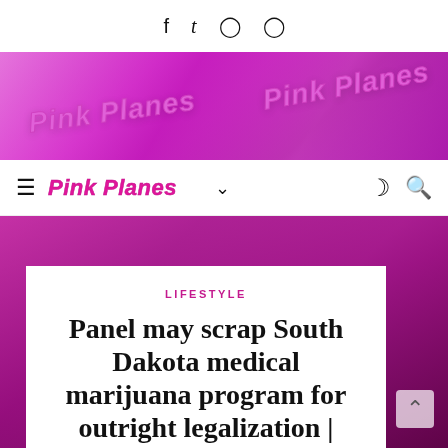f  t  (instagram)  (instagram)
[Figure (photo): Pink Planes branded pink boxes with cursive 'Pink Planes' logo text, lit with pink/magenta lighting]
≡  Pink Planes  ∨  ☾  🔍
[Figure (photo): Close-up of reflective pink metallic angular surfaces with magenta lighting]
LIFESTYLE
Panel may scrap South Dakota medical marijuana program for outright legalization |